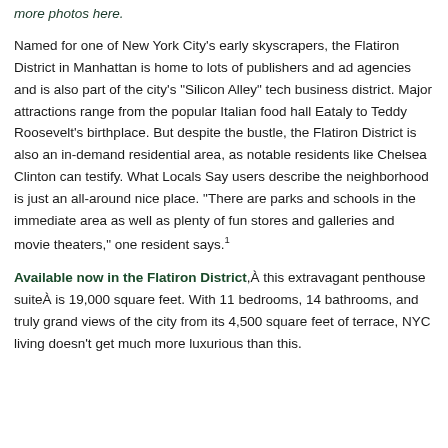how many fireplaces can fit in one home? This place tests the limits. See more photos here.
Named for one of New York City's early skyscrapers, the Flatiron District in Manhattan is home to lots of publishers and ad agencies and is also part of the city's "Silicon Alley" tech business district. Major attractions range from the popular Italian food hall Eataly to Teddy Roosevelt's birthplace. But despite the bustle, the Flatiron District is also an in-demand residential area, as notable residents like Chelsea Clinton can testify. What Locals Say users describe the neighborhood is just an all-around nice place. "There are parks and schools in the immediate area as well as plenty of fun stores and galleries and movie theaters," one resident says.1
Available now in the Flatiron District, this extravagant penthouse suite is 19,000 square feet. With 11 bedrooms, 14 bathrooms, and truly grand views of the city from its 4,500 square feet of terrace, NYC living doesn't get much more luxurious than this.